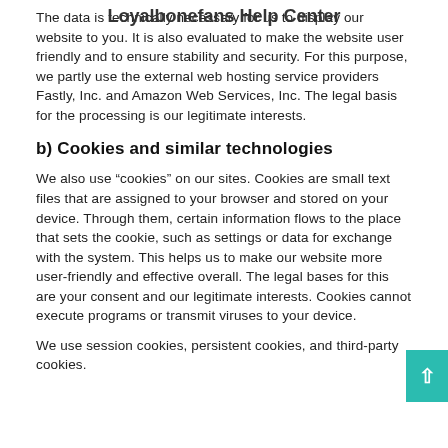Loyalbonefans Help Center
The data is technically necessary for us to display our website to you. It is also evaluated to make the website user friendly and to ensure stability and security. For this purpose, we partly use the external web hosting service providers Fastly, Inc. and Amazon Web Services, Inc. The legal basis for the processing is our legitimate interests.
b) Cookies and similar technologies
We also use “cookies” on our sites. Cookies are small text files that are assigned to your browser and stored on your device. Through them, certain information flows to the place that sets the cookie, such as settings or data for exchange with the system. This helps us to make our website more user-friendly and effective overall. The legal bases for this are your consent and our legitimate interests. Cookies cannot execute programs or transmit viruses to your device.
We use session cookies, persistent cookies, and third-party cookies.